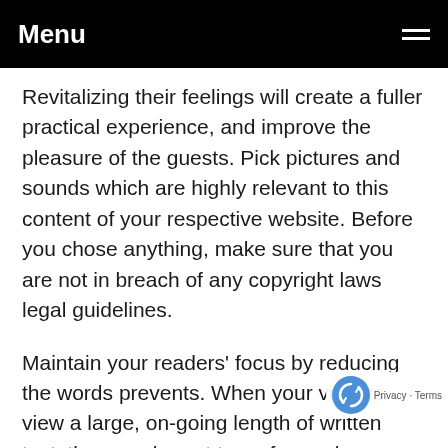Menu
Revitalizing their feelings will create a fuller practical experience, and improve the pleasure of the guests. Pick pictures and sounds which are highly relevant to this content of your respective website. Before you chose anything, make sure that you are not in breach of any copyright laws legal guidelines.
Maintain your readers' focus by reducing the words prevents. When your visitors view a large, on-going length of written text, they can be apt to go forward. https://list.ly/zieglerbuckley915 intimidates the viewers experience of comfort and ease of reading. http://sc.sie.gov.hk/TuniS/platinumherbalcare.com will likely anticipate an even more exciting read once they